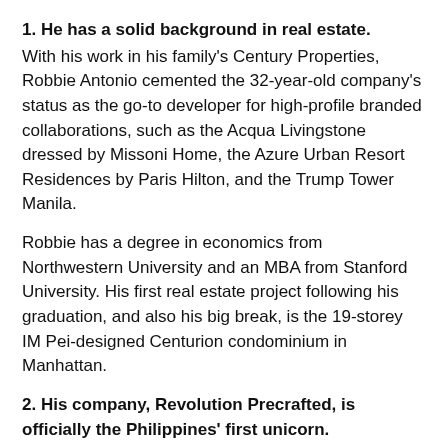1. He has a solid background in real estate. With his work in his family’s Century Properties, Robbie Antonio cemented the 32-year-old company’s status as the go-to developer for high-profile branded collaborations, such as the Acqua Livingstone dressed by Missoni Home, the Azure Urban Resort Residences by Paris Hilton, and the Trump Tower Manila.
Robbie has a degree in economics from Northwestern University and an MBA from Stanford University. His first real estate project following his graduation, and also his big break, is the 19-storey IM Pei-designed Centurion condominium in Manhattan.
2. His company, Revolution Precrafted, is officially the Philippines’ first unicorn. If you’re not familiar with tech jargon, unicorn status means a tech company valued at US$1 billion or more and it’s been the goal of founder Robbie Antonio from the